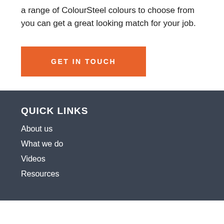a range of ColourSteel colours to choose from you can get a great looking match for your job.
[Figure (other): Orange button with text GET IN TOUCH]
QUICK LINKS
About us
What we do
Videos
Resources